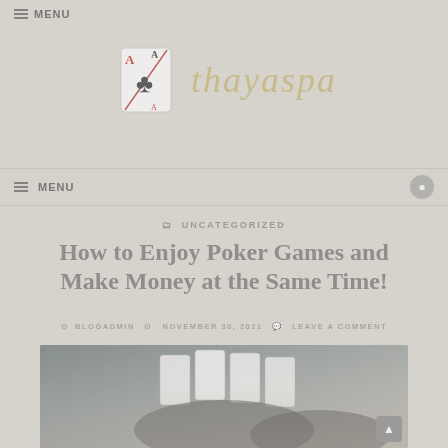≡ MENU
[Figure (logo): Playing card logo with two aces and club suit symbol, alongside 'thayaspa' text in italic gold font]
≡ MENU
UNCATEGORIZED
How to Enjoy Poker Games and Make Money at the Same Time!
BLOGADMIN  NOVEMBER 30, 2021  LEAVE A COMMENT
[Figure (photo): Photo of hands holding or dealing playing cards]